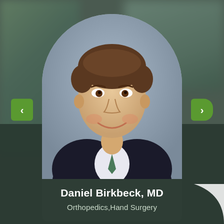[Figure (photo): Professional headshot of Dr. Daniel Birkbeck, MD. A middle-aged man with brown hair wearing a dark suit, smiling, with a blurred blue-gray background. The photo is displayed in an arch/rounded-top rectangular frame.]
Daniel Birkbeck, MD
Orthopedics,Hand Surgery